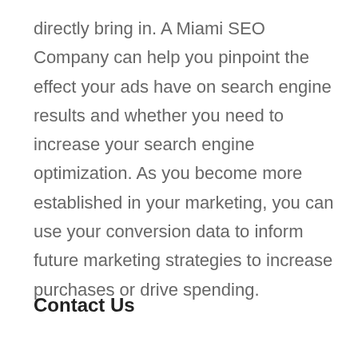directly bring in. A Miami SEO Company can help you pinpoint the effect your ads have on search engine results and whether you need to increase your search engine optimization. As you become more established in your marketing, you can use your conversion data to inform future marketing strategies to increase purchases or drive spending.
Contact Us